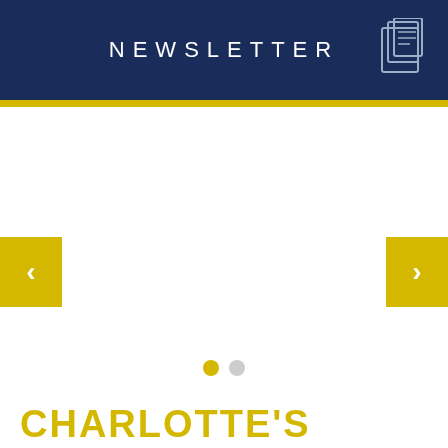NEWSLETTER
[Figure (other): Newsletter header with dark navy background, NEWSLETTER text centered in white spaced letters, and a document/folder icon in the upper right corner in outline style. A yellow bar separates the header from the content below.]
[Figure (other): Carousel navigation interface with yellow left arrow button on the left edge, yellow right arrow button on the right edge, and two indicator dots below (one yellow/active, one grey/inactive). The carousel content area is white/empty.]
CHARLOTTE'S